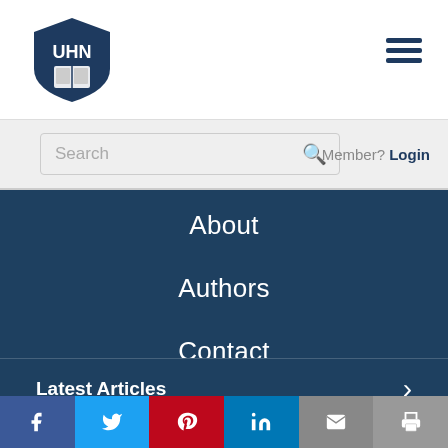[Figure (logo): UHN shield logo with book icon]
[Figure (other): Hamburger menu icon (three horizontal lines)]
Search
Member? Login
About
Authors
Contact
Latest Articles ›
Top Free Guides ›
[Figure (other): Social share bar: Facebook, Twitter, Pinterest, LinkedIn, Email, Print icons]